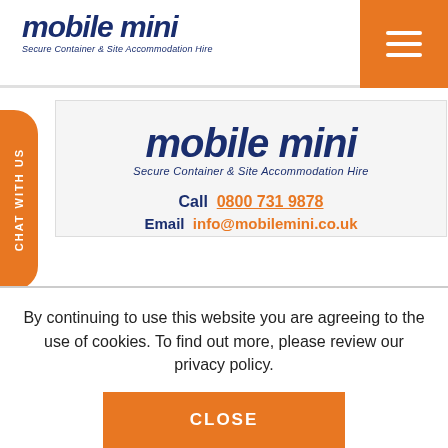[Figure (logo): Mobile Mini logo with italic bold text and tagline 'Secure Container & Site Accommodation Hire' in the header]
[Figure (illustration): Orange hamburger menu button in top right corner]
[Figure (logo): Mobile Mini logo centered in card area with tagline 'Secure Container & Site Accommodation Hire']
Call  0800 731 9878
Email  info@mobilemini.co.uk
By continuing to use this website you are agreeing to the use of cookies. To find out more, please review our privacy policy.
CLOSE